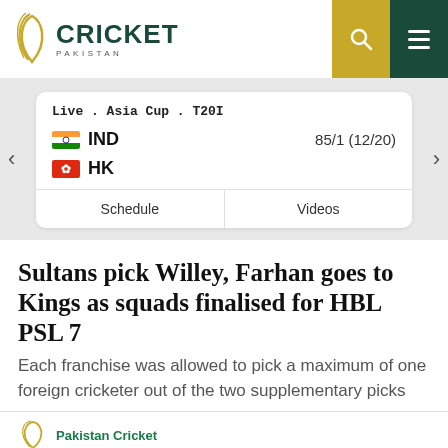Cricket Pakistan - navigation header with logo, search and menu icons
[Figure (screenshot): Live score card showing Asia Cup T20I match: IND 85/1 (12/20) vs HK, with Schedule and Videos buttons]
Sultans pick Willey, Farhan goes to Kings as squads finalised for HBL PSL 7
Each franchise was allowed to pick a maximum of one foreign cricketer out of the two supplementary picks
Pakistan Cricket